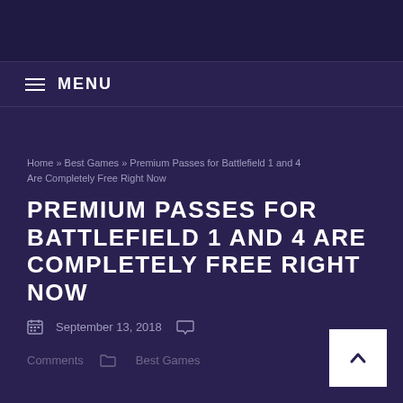MENU
Home » Best Games » Premium Passes for Battlefield 1 and 4 Are Completely Free Right Now
PREMIUM PASSES FOR BATTLEFIELD 1 AND 4 ARE COMPLETELY FREE RIGHT NOW
September 13, 2018
Comments  Best Games